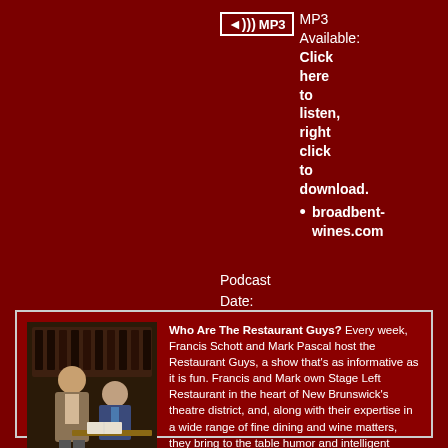[Figure (logo): MP3 logo with speaker icon in white border box, followed by text: MP3 Available: Click here to listen, right click to download. Bullet: broadbent-wines.com]
Podcast Date: 8/15/2005
[Figure (photo): Two men, one standing and one seated, in a restaurant setting]
Who Are The Restaurant Guys? Every week, Francis Schott and Mark Pascal host the Restaurant Guys, a show that’s as informative as it is fun. Francis and Mark own Stage Left Restaurant in the heart of New Brunswick’s theatre district, and, along with their expertise in a wide range of fine dining and wine matters, they bring to the table humor and intelligent conversation, perfect for the midday listener. The show includes discussions and interviews with famous chefs, restaurateurs, wine and food writers, critics; and the Guys even give stuff away occasionally.